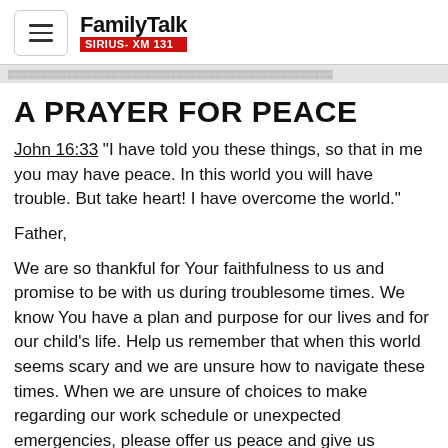FamilyTalk SIRIUS-XM 131
A PRAYER FOR PEACE
John 16:33 "I have told you these things, so that in me you may have peace. In this world you will have trouble. But take heart! I have overcome the world."
Father,
We are so thankful for Your faithfulness to us and promise to be with us during troublesome times. We know You have a plan and purpose for our lives and for our child's life. Help us remember that when this world seems scary and we are unsure how to navigate these times. When we are unsure of choices to make regarding our work schedule or unexpected emergencies, please offer us peace and give us wisdom. It can be easy to get lost in our worries, fears, and concerns that we lose